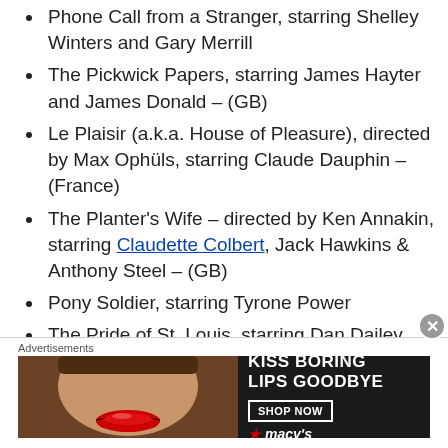Phone Call from a Stranger, starring Shelley Winters and Gary Merrill
The Pickwick Papers, starring James Hayter and James Donald – (GB)
Le Plaisir (a.k.a. House of Pleasure), directed by Max Ophüls, starring Claude Dauphin – (France)
The Planter's Wife – directed by Ken Annakin, starring Claudette Colbert, Jack Hawkins & Anthony Steel – (GB)
Pony Soldier, starring Tyrone Power
The Pride of St. Louis, starring Dan Dailey
The Prisoner of Zenda, starring Stewart
[Figure (illustration): Advertisement banner for Macy's lipstick product with text 'KISS BORING LIPS GOODBYE' and 'SHOP NOW' button, showing a woman's face with red lips]
Advertisements